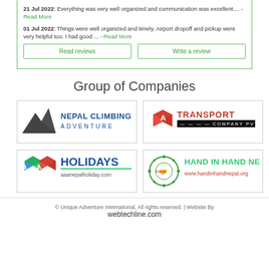21 Jul 2022: Everything was very well organized and communication was excellent.... - Read More
01 Jul 2022: Things were well organized and timely. Airport dropoff and pickup were very helpful too. I had good ... - Read More
Read reviews
Write a review
Group of Companies
[Figure (logo): Nepal Climbing Adventure logo with mountain and blue text]
[Figure (logo): AA Transport Company Pvt. Ltd logo with red cube]
[Figure (logo): AA Holidays aaanepalholiday.com logo with colorful cube]
[Figure (logo): Hand in Hand Nepal www.handinhandnepal.org logo]
© Unique Adventure International, All rights reserved. | Website By webtechline.com